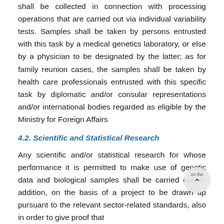shall be collected in connection with processing operations that are carried out via individual variability tests. Samples shall be taken by persons entrusted with this task by a medical genetics laboratory, or else by a physician to be designated by the latter; as for family reunion cases, the samples shall be taken by health care professionals entrusted with this specific task by diplomatic and/or consular representations and/or international bodies regarded as eligible by the Ministry for Foreign Affairs
4.2. Scientific and Statistical Research
Any scientific and/or statistical research for whose performance it is permitted to make use of genetic data and biological samples shall be carried out, in addition, on the basis of a project to be drawn up pursuant to the relevant sector-related standards, also in order to give proof that